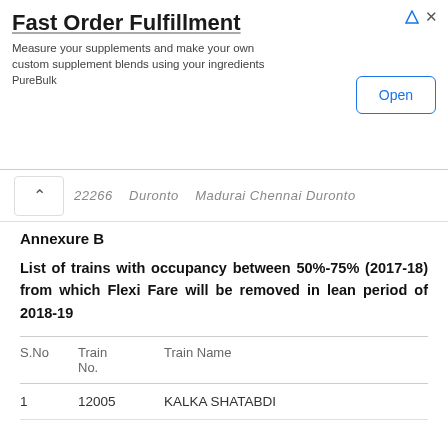[Figure (screenshot): Advertisement banner for 'Fast Order Fulfillment' by PureBulk with an Open button]
Annexure B
List of trains with occupancy between 50%-75% (2017-18) from which Flexi Fare will be removed in lean period of 2018-19
| S.No | Train No. | Train Name |
| --- | --- | --- |
| 1 | 12005 | KALKA SHATABDI |